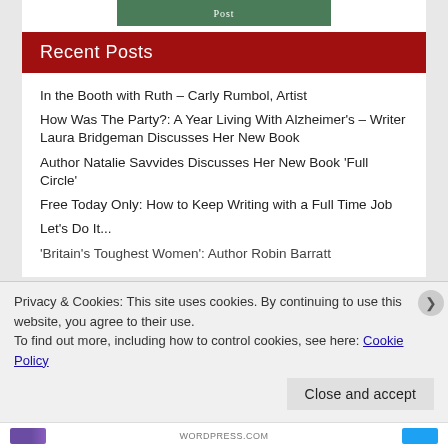[Figure (other): Top partial image showing a green button/post element, partially visible at top of sidebar]
Recent Posts
In the Booth with Ruth – Carly Rumbol, Artist
How Was The Party?: A Year Living With Alzheimer's – Writer Laura Bridgeman Discusses Her New Book
Author Natalie Savvides Discusses Her New Book 'Full Circle'
Free Today Only: How to Keep Writing with a Full Time Job
Let's Do It...
'Britain's Toughest Women': Author Robin Barratt
Privacy & Cookies: This site uses cookies. By continuing to use this website, you agree to their use.
To find out more, including how to control cookies, see here: Cookie Policy
Close and accept